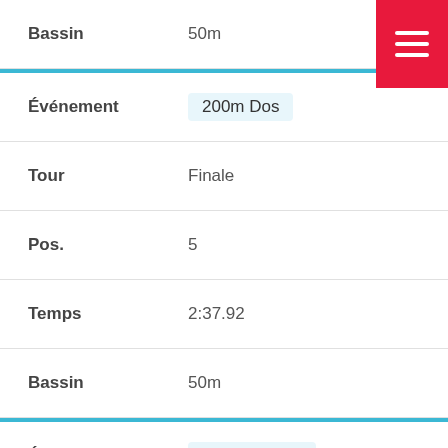| Field | Value |
| --- | --- |
| Bassin | 50m |
| Événement | 200m Dos |
| Tour | Finale |
| Pos. | 5 |
| Temps | 2:37.92 |
| Bassin | 50m |
| Événement | 200m Brasse |
| Tour | Finale |
| Pos. | 7 |